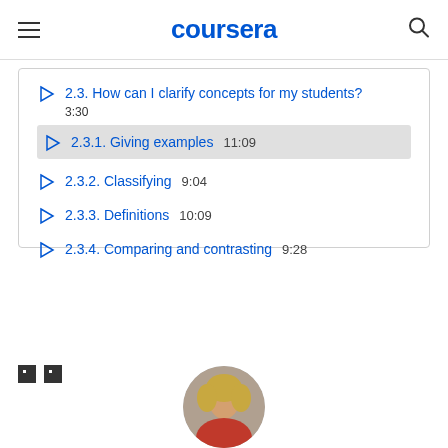coursera
2.3. How can I clarify concepts for my students? 3:30
2.3.1. Giving examples  11:09
2.3.2. Classifying  9:04
2.3.3. Definitions  10:09
2.3.4. Comparing and contrasting  9:28
[Figure (photo): Circular photo of a person with blonde hair, partially cropped at bottom of page]